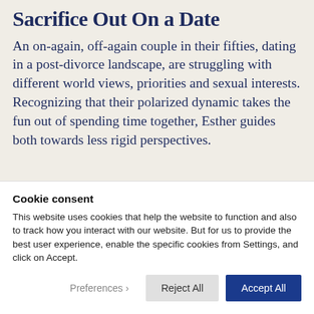Sacrifice Out On a Date
An on-again, off-again couple in their fifties, dating in a post-divorce landscape, are struggling with different world views, priorities and sexual interests. Recognizing that their polarized dynamic takes the fun out of spending time together, Esther guides both towards less rigid perspectives.
Cookie consent
This website uses cookies that help the website to function and also to track how you interact with our website. But for us to provide the best user experience, enable the specific cookies from Settings, and click on Accept.
Preferences  Reject All  Accept All